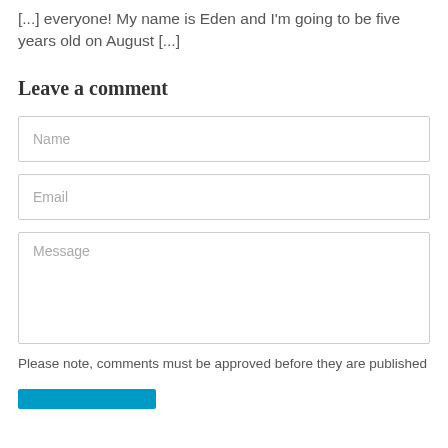[...] everyone! My name is Eden and I'm going to be five years old on August [...]
Leave a comment
Please note, comments must be approved before they are published